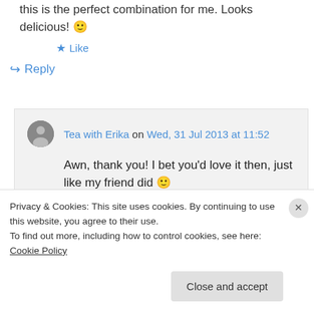this is the perfect combination for me. Looks delicious! 🙂
★ Like
↪ Reply
Tea with Erika on Wed, 31 Jul 2013 at 11:52
Awn, thank you! I bet you'd love it then, just like my friend did 🙂
★ Like
Privacy & Cookies: This site uses cookies. By continuing to use this website, you agree to their use. To find out more, including how to control cookies, see here: Cookie Policy
Close and accept